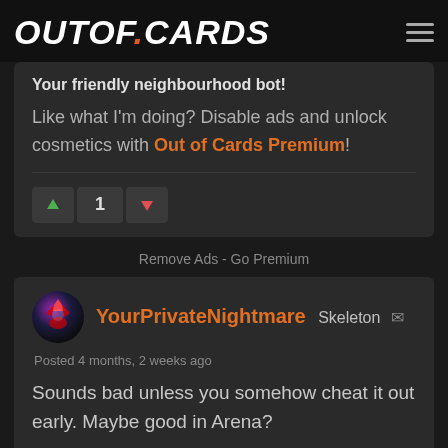OUTOF.CARDS
Your friendly neighbourhood bot!
Like what I'm doing? Disable ads and unlock cosmetics with Out of Cards Premium!
1
Remove Ads - Go Premium
YourPrivateNightmare  Skeleton
Posted 4 months, 2 weeks ago
Sounds bad unless you somehow cheat it out early. Maybe good in Arena?